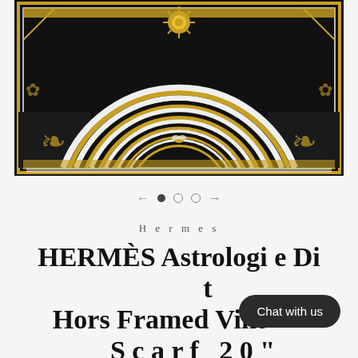[Figure (photo): Close-up photograph of a Hermès Astrologie silk scarf in black and gold, framed. The scarf features concentric arcs and celestial/astrological motifs with gold, white, and black colors, with a sun motif at the top center.]
Hermes
HERMÈS Astrologie Dix-Sept Hors Framed Vintage Scarf 20"